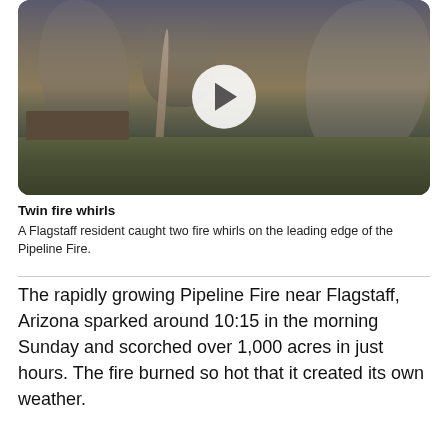[Figure (photo): Video thumbnail showing two fire whirls on the leading edge of the Pipeline Fire near Flagstaff, Arizona. Smoke columns rise against a hazy sky with a landscape of trees and buildings in the foreground. A circular play button is overlaid in the center.]
Twin fire whirls
A Flagstaff resident caught two fire whirls on the leading edge of the Pipeline Fire.
The rapidly growing Pipeline Fire near Flagstaff, Arizona sparked around 10:15 in the morning Sunday and scorched over 1,000 acres in just hours. The fire burned so hot that it created its own weather.